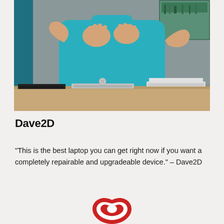[Figure (photo): A person wearing a teal long-sleeve shirt gesturing with both hands over a wooden desk with three closed laptops. Background shows studio setup with blue shelving and a small aquarium.]
Dave2D
“This is the best laptop you can get right now if you want a completely repairable and upgradeable device.” – Dave2D
[Figure (logo): Red Dot award logo - partial view of red and white swirl/spiral design at bottom of page]